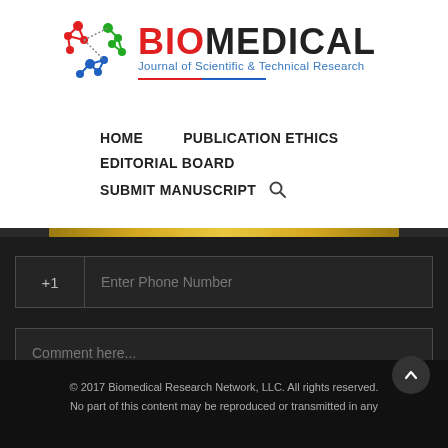[Figure (logo): Biomedical Journal of Scientific & Technical Research logo with molecule icon]
HOME    PUBLICATION ETHICS
EDITORIAL BOARD
SUBMIT MANUSCRIPT  🔍
[Figure (screenshot): Dark UI section with phone number input field showing +1 country code and 'Enter Phone Number' placeholder, and a comment text area with 'Comment here...' placeholder]
© 2017 Biomedical Research Network, LLC. All rights reserved.
No part of this content may be reproduced or transmitted in any